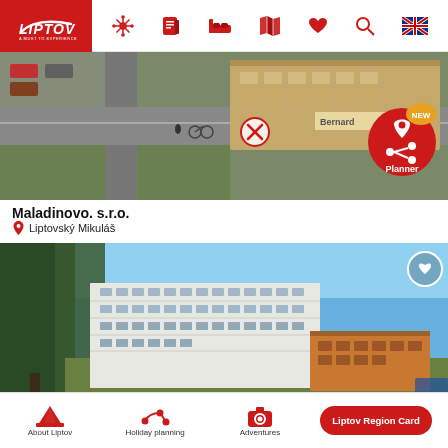Liptov - A Must to Experience navigation header with icons
[Figure (photo): Aerial view of Maladinovo s.r.o. building and parking area in Liptovský Mikuláš, with a red close/remove button overlay]
Maladinovo, s.r.o.
Liptovský Mikuláš
[Figure (logo): Liptov Planner badge - red circular badge with NEW label, map pin and share icons, saying Planner]
[Figure (photo): Exterior photo of a large hotel building in Liptovský Mikuláš, with trees in foreground and blue sky]
About Liptov | Holiday planning | Adventures | Liptov Region Card